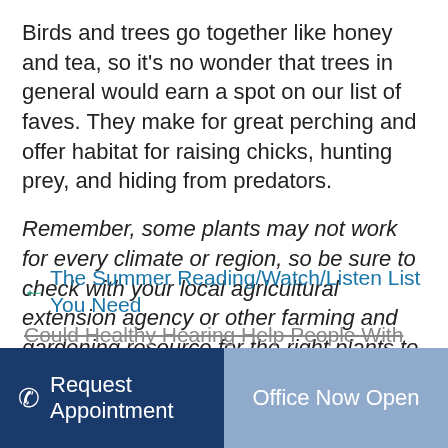Birds and trees go together like honey and tea, so it's no wonder that trees in general would earn a spot on our list of faves. They make for great perching and offer habitat for raising chicks, hunting prey, and hiding from predators.
Remember, some plants may not work for every climate or region, so be sure to check with your local agricultural extension agency or other farming and gardening resource for the right plants to bring the sounds of birds and butterflies to your yard.
← The Summer Reading/Watch/Listen List You Need
Could Healthy Hearing Help People With
Request Appointment   Office Now Open